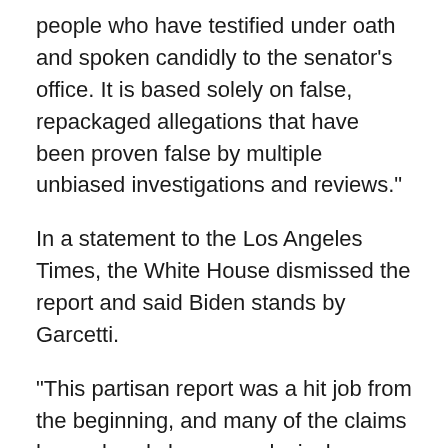people who have testified under oath and spoken candidly to the senator's office. It is based solely on false, repackaged allegations that have been proven false by multiple unbiased investigations and reviews."
In a statement to the Los Angeles Times, the White House dismissed the report and said Biden stands by Garcetti.
"This partisan report was a hit job from the beginning, and many of the claims have already been conclusively debunked by more serious independent reports," according to the statement. "The president has confidence in Mayor Garcetti and believes he will be an excellent representative in India at a critical moment and calls for the Senate to swiftly confirm him."